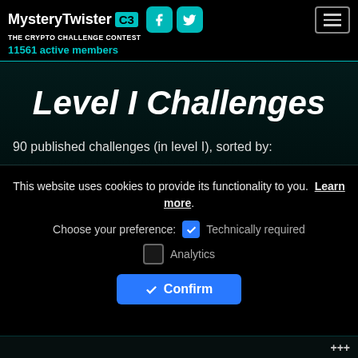MysteryTwister C3 — THE CRYPTO CHALLENGE CONTEST — 11561 active members
Level I Challenges
90 published challenges (in level I), sorted by:
This website uses cookies to provide its functionality to you. Learn more. Choose your preference: Technically required [checked] Analytics [unchecked]
Confirm
+++